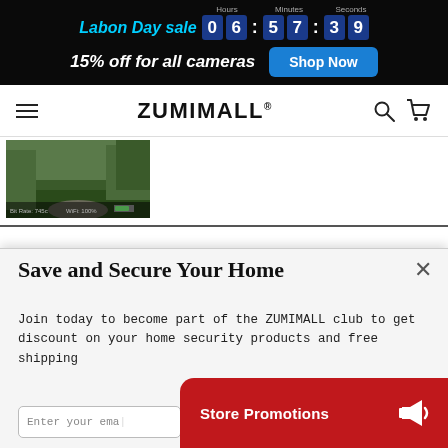Labon Day sale 06:57:39 (Hours, Minutes, Seconds countdown)
15% off for all cameras  Shop Now
ZUMIMALL
[Figure (photo): Outdoor/garden camera view showing patio area with plants]
Save and Secure Your Home
Join today to become part of the ZUMIMALL club to get discount on your home security products and free shipping
Enter your email
Store Promotions